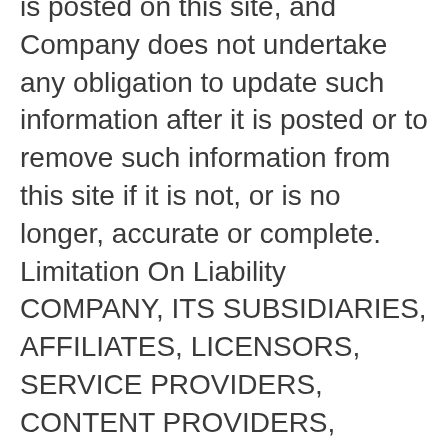is posted on this site, and Company does not undertake any obligation to update such information after it is posted or to remove such information from this site if it is not, or is no longer, accurate or complete. Limitation On Liability COMPANY, ITS SUBSIDIARIES, AFFILIATES, LICENSORS, SERVICE PROVIDERS, CONTENT PROVIDERS, EMPLOYEES, AGENTS, OFFICERS, AND DIRECTORS WILL NOT BE LIABLE FOR ANY INCIDENTAL, DIRECT, INDIRECT, PUNITIVE, ACTUAL, CONSEQUENTIAL, SPECIAL, EXEMPLARY, OR OTHER DAMAGES, INCLUDING LOSS OF REVENUE OR INCOME, PAIN AND SUFFERING, EMOTIONAL DISTRESS, OR SIMILAR